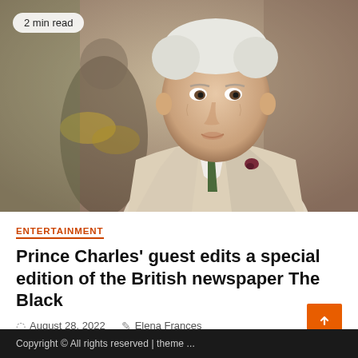[Figure (photo): Close-up photo of an elderly white-haired man in a beige suit with a green tie and boutonniere, with a military-uniformed figure blurred in the background. A '2 min read' badge overlays the top-left corner.]
ENTERTAINMENT
Prince Charles' guest edits a special edition of the British newspaper The Black
August 28, 2022   Elena Frances
Copyright © All rights reserved | theme ...